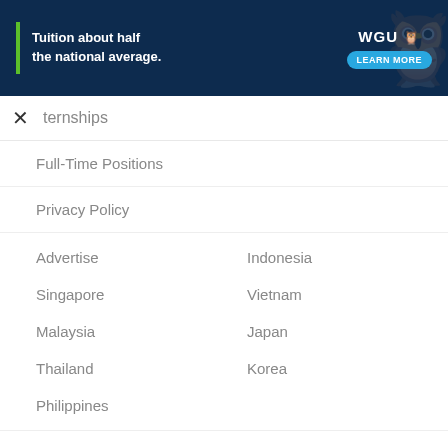[Figure (screenshot): WGU advertisement banner: dark navy blue background with green vertical bar, text 'Tuition about half the national average.', WGU owl logo, and 'LEARN MORE' button in cyan]
ternships
Full-Time Positions
Privacy Policy
Advertise
Indonesia
Singapore
Vietnam
Malaysia
Japan
Thailand
Korea
Philippines
Singapore Office
219 Kallang Bahru, #04-00 Chutex Building, Singapore 339348